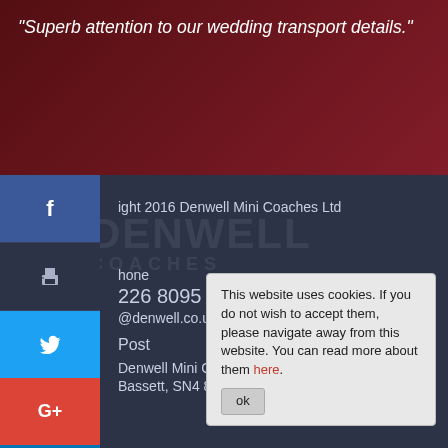"Superb attention to our wedding transport details."
ight 2016 Denwell Mini Coaches Ltd
[Figure (logo): Denwell Coaches watermark logo in dark background]
hone
226 8095
@denwell.co.uk
Post
Denwell Mini Coaches Ltd, Blackfords, Bassett, SN4 8EH
Home
This website uses cookies. If you do not wish to accept them, please navigate away from this website. You can read more about them here.